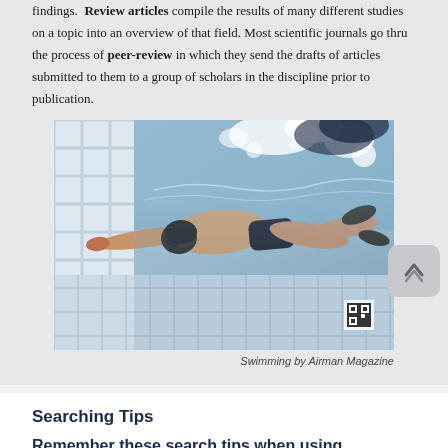findings. Review articles compile the results of many different studies on a topic into an overview of that field. Most scientific journals go thru the process of peer-review in which they send the drafts of articles submitted to them to a group of scholars in the discipline prior to publication.
[Figure (photo): Underwater photograph of a swimmer diving into a swimming pool, arms extended forward, wearing goggles and dark swim cap, with pool tiles visible in the background and water bubbles/splash at the surface above.]
Swimming by Airman Magazine
Searching Tips
Remember these search tips when using databases